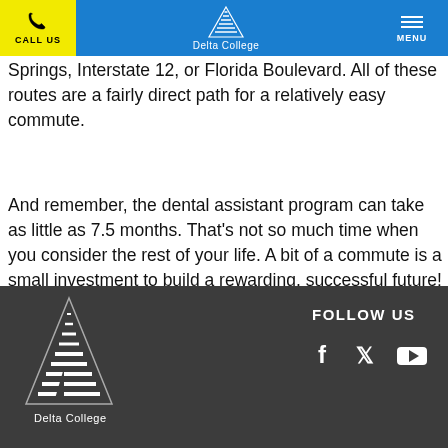CALL US | Delta College | MENU
Springs, Interstate 12, or Florida Boulevard. All of these routes are a fairly direct path for a relatively easy commute.
And remember, the dental assistant program can take as little as 7.5 months. That's not so much time when you consider the rest of your life. A bit of a commute is a small investment to build a rewarding, successful future!
[Figure (logo): Delta College logo (white pyramid/triangle on dark background) with text Delta College below]